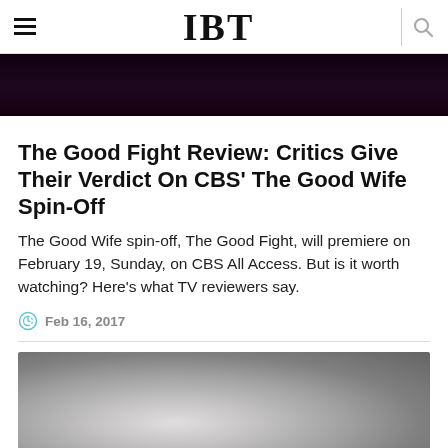IBT
[Figure (photo): Dark/black top banner image, likely a promotional still from The Good Fight TV show]
The Good Fight Review: Critics Give Their Verdict On CBS' The Good Wife Spin-Off
The Good Wife spin-off, The Good Fight, will premiere on February 19, Sunday, on CBS All Access. But is it worth watching? Here's what TV reviewers say.
Feb 16, 2017
[Figure (photo): Blurred grayscale photo, likely showing actors or a scene from The Good Fight]